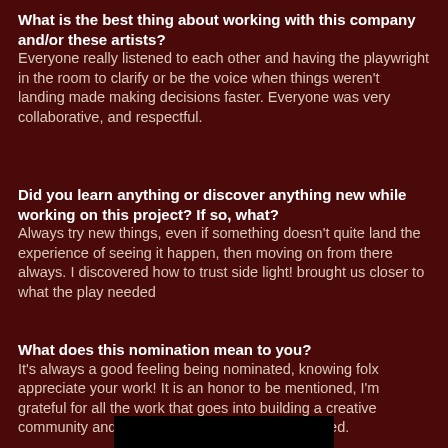What is the best thing about working with this company and/or these artists?
Everyone really listened to each other and having the playwright in the room to clarify or be the voice when things weren't landing made making decisions faster. Everyone was very collaborative, and respectful.
Did you learn anything or discover anything new while working on this project? If so, what?
Always try new things, even if something doesn't quite land the experience of seeing it happen, then moving on from there always. I discovered how to trust side light! brought us closer to what the play needed
What does this nomination mean to you?
It's always a good feeling being nominated, knowing folx appreciate your work! It is an honor to be mentioned, I'm grateful for all the work that goes into building a creative community and it means so much to be recognized.